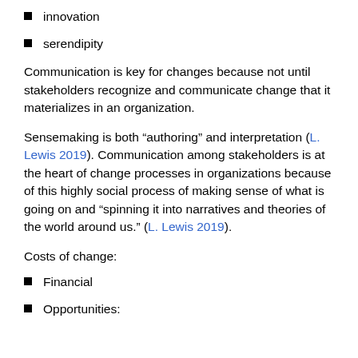innovation
serendipity
Communication is key for changes because not until stakeholders recognize and communicate change that it materializes in an organization.
Sensemaking is both “authoring” and interpretation (L. Lewis 2019). Communication among stakeholders is at the heart of change processes in organizations because of this highly social process of making sense of what is going on and “spinning it into narratives and theories of the world around us.” (L. Lewis 2019).
Costs of change:
Financial
Opportunities: